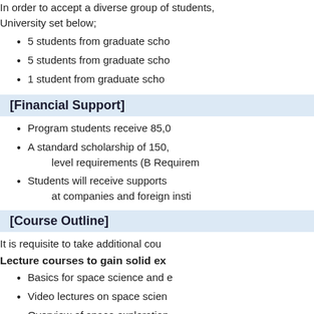In order to accept a diverse group of students, University set below;
5 students from graduate scho...
5 students from graduate scho...
1 student from graduate scho...
[Financial Support]
Program students receive 85,0...
A standard scholarship of 150,... level requirements (B Requirem...
Students will receive supports ... at companies and foreign insti...
[Course Outline]
It is requisite to take additional cou...
Lecture courses to gain solid ex...
Basics for space science and e...
Video lectures on space scien...
Overview of space exploration...
Lectures on space science an...